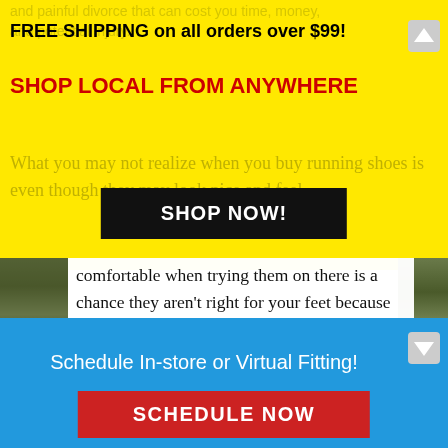FREE SHIPPING on all orders over $99!
SHOP LOCAL FROM ANYWHERE
SHOP NOW!
comfortable when trying them on there is a chance they aren't right for your feet because of your gait.  Simply put, your gait is how you plant your heal when you run.  Some people have a neutral gait, having a stable foot and healthy arch, while others may have their foot roll to the right or left when running, having a medium or flat arch.  Running shoes are made for specific feet, arches, and gaits in mind, so it is possible to
Schedule In-store or Virtual Fitting!
SCHEDULE NOW